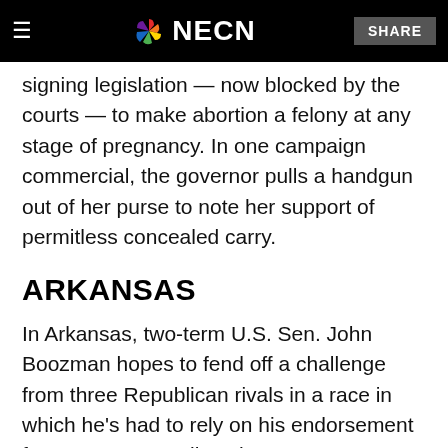NECN
signing legislation — now blocked by the courts — to make abortion a felony at any stage of pregnancy. In one campaign commercial, the governor pulls a handgun out of her purse to note her support of permitless concealed carry.
ARKANSAS
In Arkansas, two-term U.S. Sen. John Boozman hopes to fend off a challenge from three Republican rivals in a race in which he's had to rely on his endorsement from Trump as well as the state's top GOP figures.
The mild-mannered Boozman has taken a more aggressive tone in his campaign ads, vowing to complete the wall along the U.S.-Mexico border.